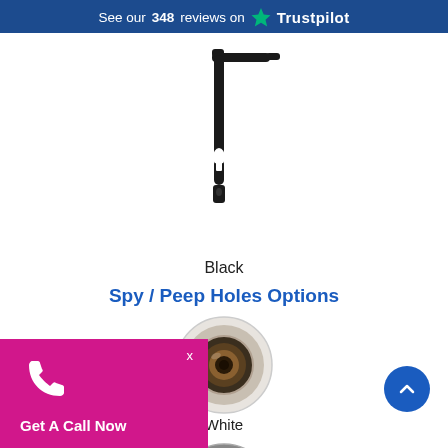See our 348 reviews on Trustpilot
[Figure (photo): Black door handle with lever and keyhole plate against white background]
Black
Spy / Peep Holes Options
[Figure (photo): Round white/silver peep hole viewer showing lens, front view]
White
[Figure (photo): Partial view of another peep hole viewer, darker finish, bottom of page]
Get A Call Now
[Figure (illustration): Magenta call-to-action overlay with phone icon and 'Get A Call Now' text, with close X button]
[Figure (illustration): Blue circular scroll-to-top button with upward arrow on right side]